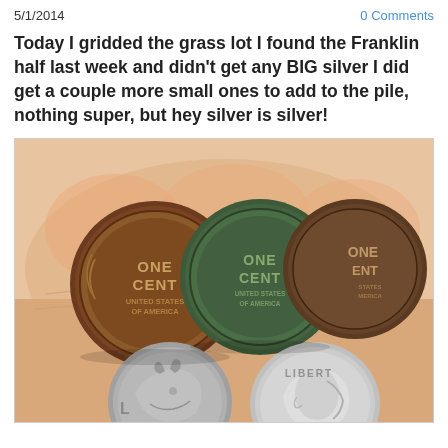5/1/2014
0 Comments
Today I gridded the grass lot I found the Franklin half last week and didn't get any BIG silver I did get a couple more small ones to add to the pile, nothing super, but hey silver is silver!
[Figure (photo): A hand holding four old coins: three wheat pennies (Lincoln cents, ONE CENT / UNITED STATES OF AMERICA) of dark brown and green patina, and two silver dimes (one Mercury dime, one Roosevelt dime) partially visible at bottom.]